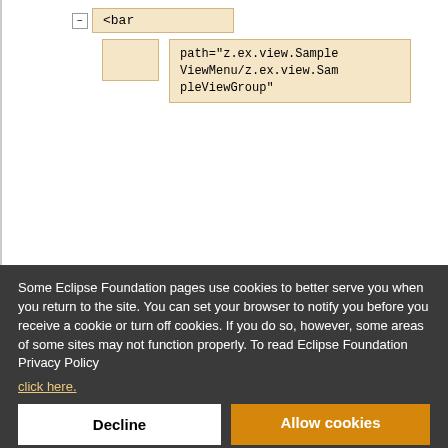[Figure (screenshot): Eclipse IDE XML tree diagram showing <bar node with attribute path='z.ex.view.SampleViewMenu/z.ex.view.SampleViewGroup']
Some Eclipse Foundation pages use cookies to better serve you when you return to the site. You can set your browser to notify you before you receive a cookie or turn off cookies. If you do so, however, some areas of some sites may not function properly. To read Eclipse Foundation Privacy Policy
click here.
Decline
Allow cookies